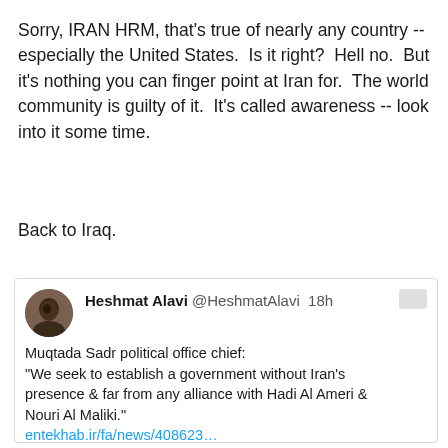Sorry, IRAN HRM, that's true of nearly any country -- especially the United States.  Is it right?  Hell no.  But it's nothing you can finger point at Iran for.  The world community is guilty of it.  It's called awareness -- look into it some time.
Back to Iraq.
[Figure (screenshot): Tweet by Heshmat Alavi (@HeshmatAlavi) posted 18h ago. Text: 'Muqtada Sadr political office chief: "We seek to establish a government without Iran's presence & far from any alliance with Hadi Al Ameri & Nouri Al Maliki." entekhab.ir/fa/news/408623... This is a severe blow to #Iran's intentions in #Iraq.']